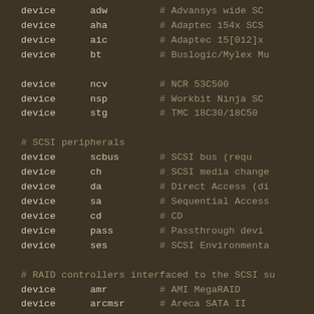device      adw         # Advansys wide SCSI
device      aha         # Adaptec 154x SCSI
device      aic         # Adaptec 15[012]x
device      bt          # Buslogic/Mylex Mul
device      ncv         # NCR 53C500
device      nsp         # Workbit Ninja SCSI
device      stg         # TMC 18C30/18C50
# SCSI peripherals
device      scbus       # SCSI bus (required)
device      ch          # SCSI media changer
device      da          # Direct Access (disk)
device      sa          # Sequential Access
device      cd          # CD
device      pass        # Passthrough device
device      ses         # SCSI Environmental
# RAID controllers interfaced to the SCSI su
device      amr         # AMI MegaRAID
device      arcmsr      # Areca SATA II
device      asr         # DPT SmartRAID V